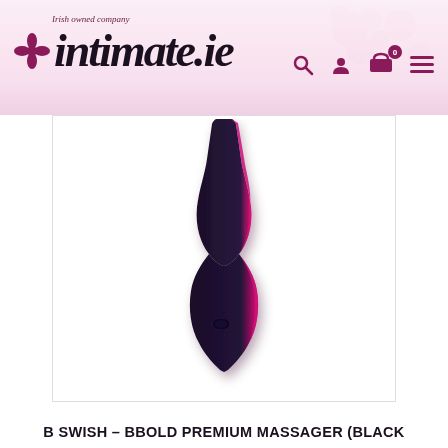intimate.ie — Irish owned company
[Figure (photo): B Swish Bbold Premium Massager product in black and pink color, elongated teardrop/wand shape with curved neck and flat oval head, shown on white background]
B SWISH – BBOLD PREMIUM MASSAGER (BLACK